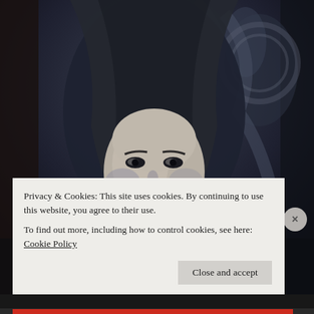[Figure (photo): Dark atmospheric photo of a man in a hooded jacket with a serious expression, set against a dark metallic background. The image is monochromatic/desaturated in dark blue-gray tones.]
Privacy & Cookies: This site uses cookies. By continuing to use this website, you agree to their use.
To find out more, including how to control cookies, see here: Cookie Policy
Close and accept